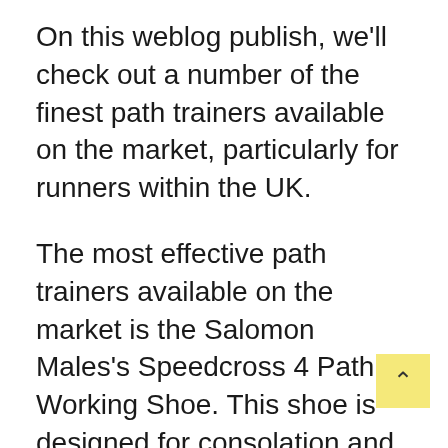On this weblog publish, we'll check out a number of the finest path trainers available on the market, particularly for runners within the UK.
The most effective path trainers available on the market is the Salomon Males's Speedcross 4 Path Working Shoe. This shoe is designed for consolation and encompasses a breathable mesh higher. It additionally has a Contagrip outsole that gives glorious traction on numerous sorts of terrain.
One other nice path working shoe is the Inov-8 Males's Roclite 305 Path Working Shoe. This shoe can also be designed for consolation and encompasses a breathable